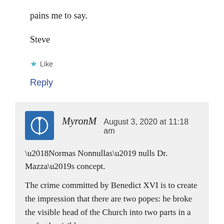pains me to say.
Steve
★ Like
Reply
MyronM   August 3, 2020 at 11:18 am
‘Normas Nonnullas’ nulls Dr. Mazza’s concept.
The crime committed by Benedict XVI is to create the impression that there are two popes: he broke the visible head of the Church into two parts in a perfectly visible manner.